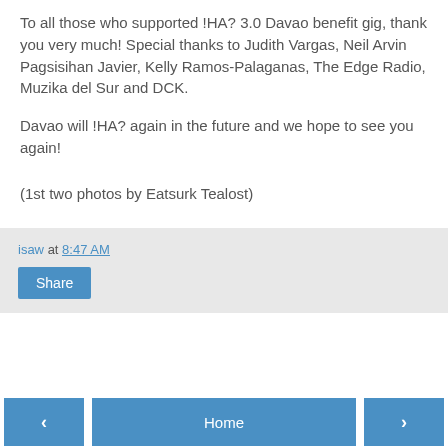To all those who supported !HA? 3.0 Davao benefit gig, thank you very much! Special thanks to Judith Vargas, Neil Arvin Pagsisihan Javier, Kelly Ramos-Palaganas, The Edge Radio, Muzika del Sur and DCK.
Davao will !HA? again in the future and we hope to see you again!
(1st two photos by Eatsurk Tealost)
isaw at 8:47 AM
Share
‹  Home  ›